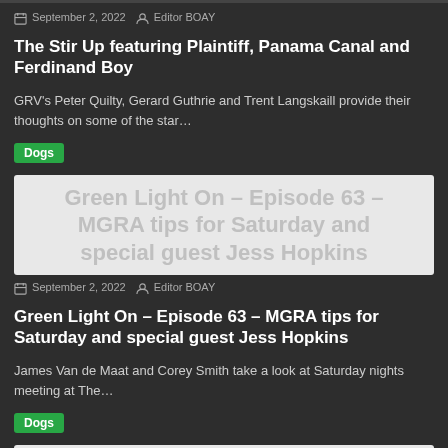September 2, 2022 | Editor BOAY
The Stir Up featuring Plaintiff, Panama Canal and Ferdinand Boy
GRV's Peter Quilty, Gerard Guthrie and Trent Langskaill provide their thoughts on some of the star…
Dogs
[Figure (photo): Image card for Green Light On – Episode 63 – MGRA tips for Saturday and special guest Jess Hopkins]
September 2, 2022 | Editor BOAY
Green Light On – Episode 63 – MGRA tips for Saturday and special guest Jess Hopkins
James Van de Maat and Corey Smith take a look at Saturday nights meeting at The…
Dogs
[Figure (photo): Image card for Clear your Saturday! Greyhounds abound!]